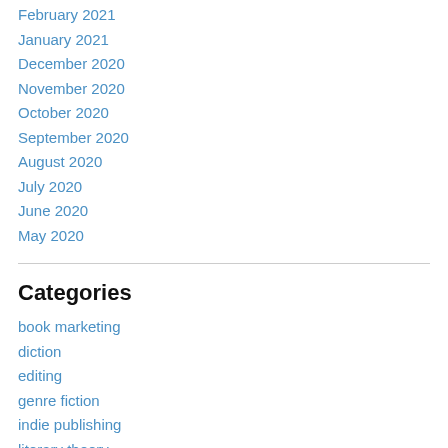February 2021
January 2021
December 2020
November 2020
October 2020
September 2020
August 2020
July 2020
June 2020
May 2020
Categories
book marketing
diction
editing
genre fiction
indie publishing
literary theory